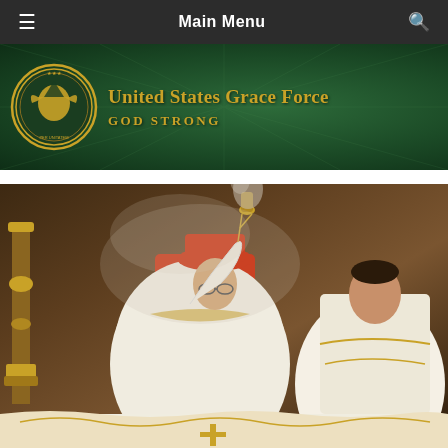Main Menu
[Figure (logo): United States Grace Force banner with seal logo. Dark green textured background. Gold circular seal on left with eagle motif. Text reads 'United States Grace Force' in large gold serif font, and 'GOD STRONG' below in gold bold text.]
[Figure (photo): Catholic religious ceremony photo showing a cardinal in red biretta and white vestments with gold embroidery swinging a thurible/incense burner, with smoke visible. Another priest in white and gold vestments stands to the right. Ornate gold candlesticks and altar visible in background.]